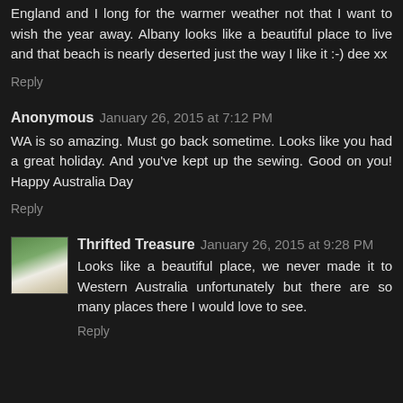England and I long for the warmer weather not that I want to wish the year away. Albany looks like a beautiful place to live and that beach is nearly deserted just the way I like it :-) dee xx
Reply
Anonymous  January 26, 2015 at 7:12 PM
WA is so amazing. Must go back sometime. Looks like you had a great holiday. And you've kept up the sewing. Good on you! Happy Australia Day
Reply
Thrifted Treasure  January 26, 2015 at 9:28 PM
Looks like a beautiful place, we never made it to Western Australia unfortunately but there are so many places there I would love to see.
Reply